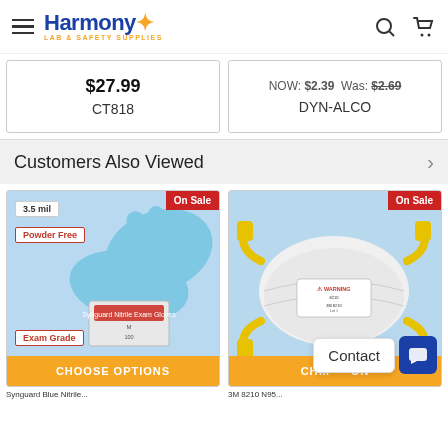Harmony Lab & Safety Supplies
$27.99
CT818
NOW: $2.39 Was: $2.69
DYN-ALCO
Customers Also Viewed
[Figure (photo): Blue nitrile exam gloves product image with badges: 3.5 mil, Powder Free, Exam Grade, On Sale]
[Figure (photo): 3M N95 respirator mask on blue background with On Sale badge]
CHOOSE OPTIONS
Contact